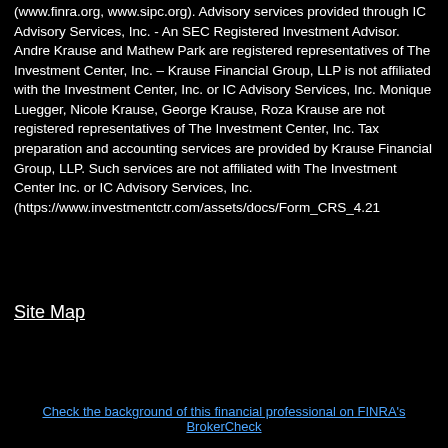(www.finra.org, www.sipc.org). Advisory services provided through IC Advisory Services, Inc. - An SEC Registered Investment Advisor. Andre Krause and Mathew Park are registered representatives of The Investment Center, Inc. – Krause Financial Group, LLP is not affiliated with the Investment Center, Inc. or IC Advisory Services, Inc. Monique Luegger, Nicole Krause, George Krause, Roza Krause are not registered representatives of The Investment Center, Inc. Tax preparation and accounting services are provided by Krause Financial Group, LLP. Such services are not affiliated with The Investment Center Inc. or IC Advisory Services, Inc. (https://www.investmentctr.com/assets/docs/Form_CRS_4.21
Site Map
Check the background of this financial professional on FINRA's BrokerCheck